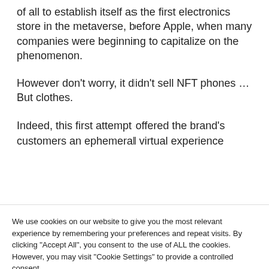of all to establish itself as the first electronics store in the metaverse, before Apple, when many companies were beginning to capitalize on the phenomenon.
However don't worry, it didn't sell NFT phones … But clothes.
Indeed, this first attempt offered the brand's customers an ephemeral virtual experience
We use cookies on our website to give you the most relevant experience by remembering your preferences and repeat visits. By clicking "Accept All", you consent to the use of ALL the cookies. However, you may visit "Cookie Settings" to provide a controlled consent.